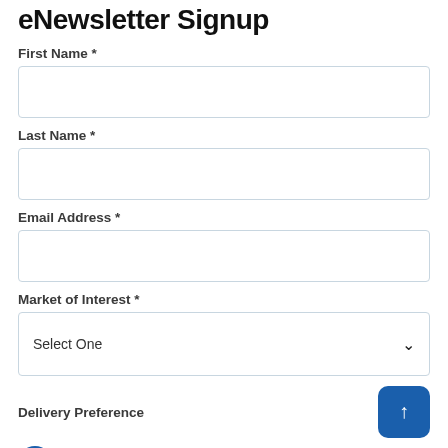eNewsletter Signup
First Name *
[Figure (other): Empty text input field for First Name]
Last Name *
[Figure (other): Empty text input field for Last Name]
Email Address *
[Figure (other): Empty text input field for Email Address]
Market of Interest *
[Figure (other): Dropdown select field showing 'Select One']
Delivery Preference
Formatted with images (recommended)